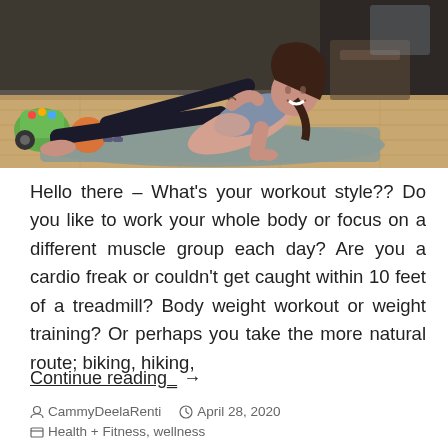[Figure (photo): Woman doing a side plank exercise on a gray yoga mat on a wooden floor, surrounded by children's toys and dumbbells in the background. She is wearing black leggings and a patterned sports bra, smiling at the camera.]
Hello there – What's your workout style?? Do you like to work your whole body or focus on a different muscle group each day? Are you a cardio freak or couldn't get caught within 10 feet of a treadmill? Body weight workout or weight training? Or perhaps you take the more natural route; biking, hiking,
Continue reading →
CammyDeelaRenti   April 28, 2020   Health + Fitness, wellness